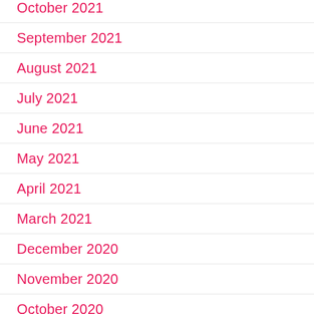October 2021
September 2021
August 2021
July 2021
June 2021
May 2021
April 2021
March 2021
December 2020
November 2020
October 2020
August 2020
May 2020
April 2020